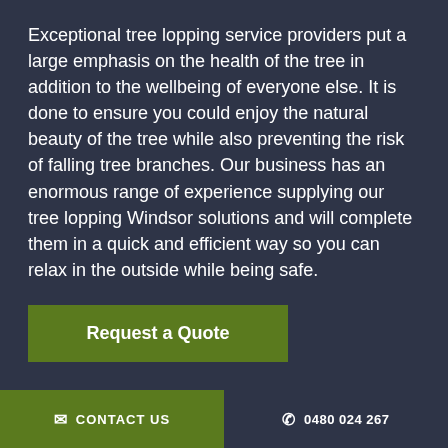Exceptional tree lopping service providers put a large emphasis on the health of the tree in addition to the wellbeing of everyone else. It is done to ensure you could enjoy the natural beauty of the tree while also preventing the risk of falling tree branches. Our business has an enormous range of experience supplying our tree lopping Windsor solutions and will complete them in a quick and efficient way so you can relax in the outside while being safe.
Request a Quote
✉ CONTACT US | ✆ 0480 024 267